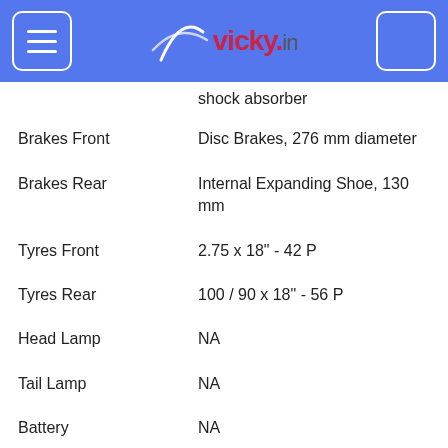vicky.in
shock absorber
| Specification | Value |
| --- | --- |
| Brakes Front | Disc Brakes, 276 mm diameter |
| Brakes Rear | Internal Expanding Shoe, 130 mm |
| Tyres Front | 2.75 x 18" - 42 P |
| Tyres Rear | 100 / 90 x 18" - 56 P |
| Head Lamp | NA |
| Tail Lamp | NA |
| Battery | NA |